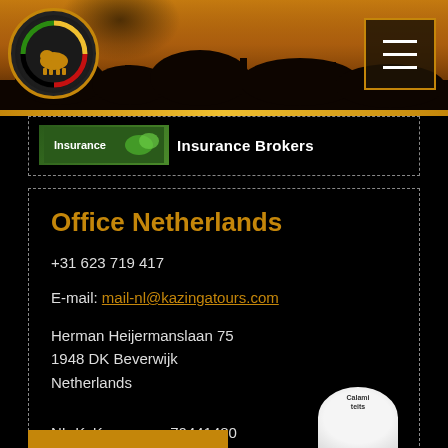[Figure (logo): Kazinga Tours circular logo with animal silhouette on dark background with orange border]
Insurance Brokers
Office Netherlands
+31 623 719 417
E-mail: mail-nl@kazingatours.com
Herman Heijermanslaan 75
1948 DK Beverwijk
Netherlands
NL-KvK nummer: 70441480
Kazinga Tours NL B.V. is a member of GGTO and Calamiteitenfonds.nl
[Figure (logo): Calamiteits fonds circular badge/seal at bottom right]